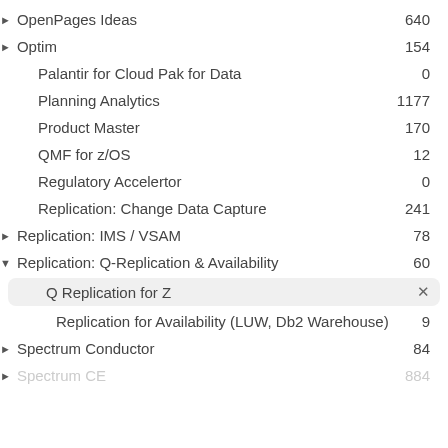OpenPages Ideas  640
Optim  154
Palantir for Cloud Pak for Data  0
Planning Analytics  1177
Product Master  170
QMF for z/OS  12
Regulatory Accelertor  0
Replication: Change Data Capture  241
Replication: IMS / VSAM  78
Replication: Q-Replication & Availability  60
Q Replication for Z  ×
Replication for Availability (LUW, Db2 Warehouse)  9
Spectrum Conductor  84
Spectrum CE  884